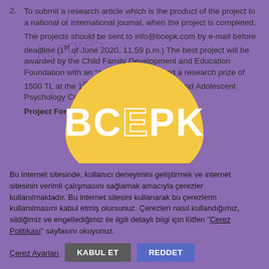2. To submit a research article which is the product of the project to a national or international journal, when the project is completed.
The projects should be sent to info@bcepk.com by e-mail before deadline (1st of June 2020, 11.59 p.m.) The best project will be awarded by the Child Family Development and Education Foundation with an "award certificate" and a research prize of 1500 TL at the 1st International Infant Child and Adolescent Psychology Congress.
Project Format
[Figure (logo): BCEPK logo — yellow oval shape with white bold text BCEPK]
Bu internet sitesinde, kullanıcı deneyimini geliştirmek ve internet sitesinin verimli çalışmasını sağlamak amacıyla çerezler kullanılmaktadır. Bu internet sitesini kullanarak bu çerezlerin kullanılmasını kabul etmiş olursunuz. Çerezleri nasıl kullandığımız, sildiğimiz ve engellediğimiz ile ilgili detaylı bilgi için lütfen "Çerez Politikası" sayfasını okuyunuz.
Çerez Ayarları  KABUL ET  REDDET